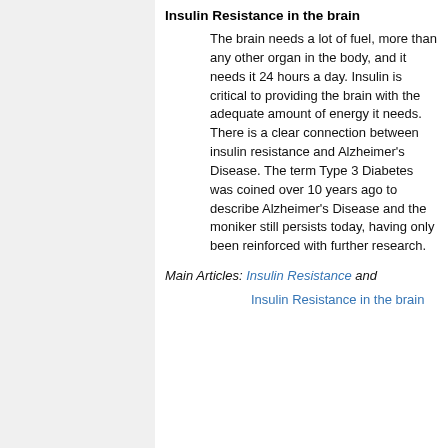Insulin Resistance in the brain
The brain needs a lot of fuel, more than any other organ in the body, and it needs it 24 hours a day. Insulin is critical to providing the brain with the adequate amount of energy it needs. There is a clear connection between insulin resistance and Alzheimer's Disease. The term Type 3 Diabetes was coined over 10 years ago to describe Alzheimer's Disease and the moniker still persists today, having only been reinforced with further research.
Main Articles: Insulin Resistance and Insulin Resistance in the brain